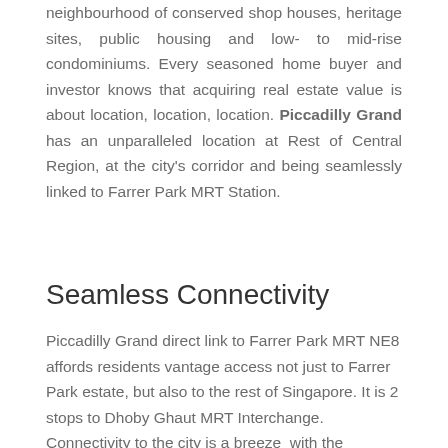neighbourhood of conserved shop houses, heritage sites, public housing and low- to mid-rise condominiums. Every seasoned home buyer and investor knows that acquiring real estate value is about location, location, location. Piccadilly Grand has an unparalleled location at Rest of Central Region, at the city's corridor and being seamlessly linked to Farrer Park MRT Station.
Seamless Connectivity
Piccadilly Grand direct link to Farrer Park MRT NE8 affords residents vantage access not just to Farrer Park estate, but also to the rest of Singapore. It is 2 stops to Dhoby Ghaut MRT Interchange. Connectivity to the city is a breeze  with the strategic Thomson-